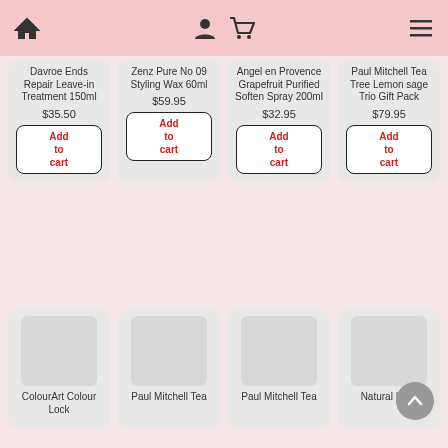Navigation header with home, user, cart, and menu icons
Davroe Ends Repair Leave-in Treatment 150ml
$35.50
Zenz Pure No 09 Styling Wax 60ml
$59.95
Angel en Provence Grapefruit Purified Soften Spray 200ml
$32.95
Paul Mitchell Tea Tree Lemon sage Trio Gift Pack
$79.95
[Figure (screenshot): Second row of product cards: ColourArt Colour Lock, Paul Mitchell Tea, Paul Mitchell Tea, Natural Look — with image placeholders]
ColourArt Colour Lock
Paul Mitchell Tea
Paul Mitchell Tea
Natural Look